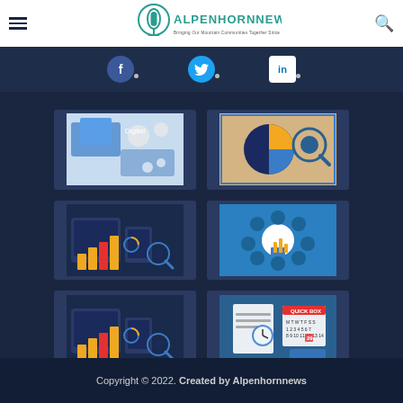AlpenhornNews - Bringing Our Mountain Communities Together Since 1985
[Figure (logo): AlpenhornNews logo with microphone icon and tagline]
[Figure (illustration): Facebook social media icon button]
[Figure (illustration): Twitter social media icon button]
[Figure (illustration): LinkedIn social media icon button]
[Figure (illustration): Digital marketing technology concept illustration with devices and icons]
[Figure (illustration): Analytics pie chart with magnifying glass illustration]
[Figure (illustration): Business analytics on tablet and mobile device illustration]
[Figure (illustration): Business analytics circular icon set illustration]
[Figure (illustration): Business analytics on tablet and mobile device illustration duplicate]
[Figure (illustration): Business scheduling and calendar management illustration]
Copyright © 2022. Created by Alpenhornnews